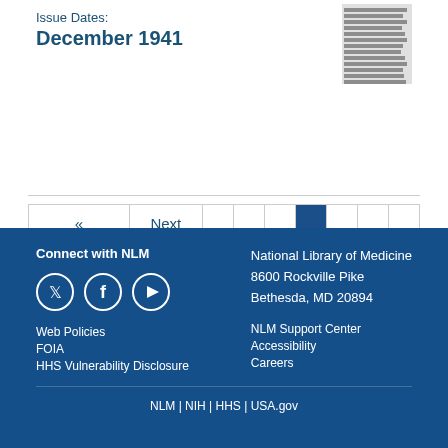Issue Dates:
December 1941
[Figure (screenshot): Thumbnail image of a document page with dense text lines]
« Previous  Next »  1  2  3  4  5  6  7  8  ...  19  20
Connect with NLM
National Library of Medicine
8600 Rockville Pike
Bethesda, MD 20894
Web Policies
FOIA
HHS Vulnerability Disclosure
NLM Support Center
Accessibility
Careers
NLM | NIH | HHS | USA.gov